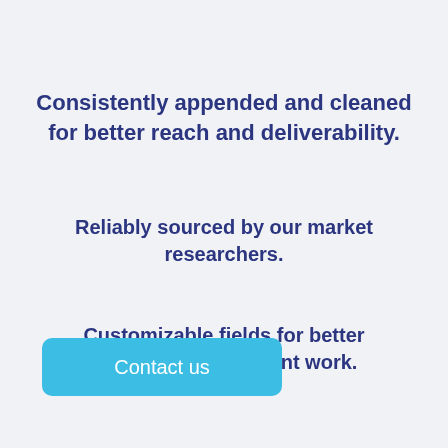Consistently appended and cleaned for better reach and deliverability.
Reliably sourced by our market researchers.
Customizable fields for better targeting and efficient work.
Contact us